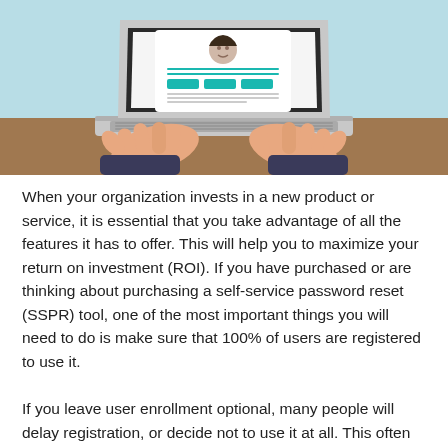[Figure (illustration): Flat illustration of a person's hands typing on a laptop. The laptop screen shows a profile/resume page with a person's avatar, colored buttons, and text lines. The background is light blue and the desk surface is tan/brown.]
When your organization invests in a new product or service, it is essential that you take advantage of all the features it has to offer. This will help you to maximize your return on investment (ROI). If you have purchased or are thinking about purchasing a self-service password reset (SSPR) tool, one of the most important things you will need to do is make sure that 100% of users are registered to use it.
If you leave user enrollment optional, many people will delay registration, or decide not to use it at all. This often happens because people think that they will not